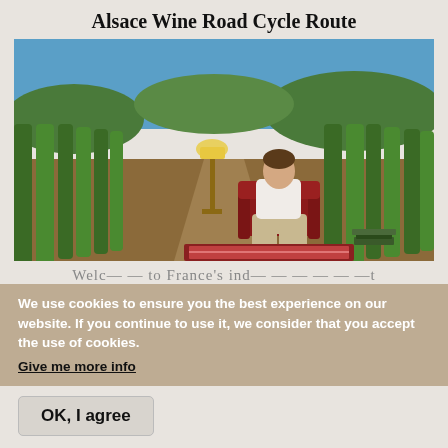Alsace Wine Road Cycle Route
[Figure (photo): A man sitting in a red armchair in a vineyard with rows of grapevines, a small side table with a lamp, and books visible on the ground. Blue sky and green hills in background.]
Welc... to France's independent...
We use cookies to ensure you the best experience on our website. If you continue to use it, we consider that you accept the use of cookies.
Give me more info
OK, I agree